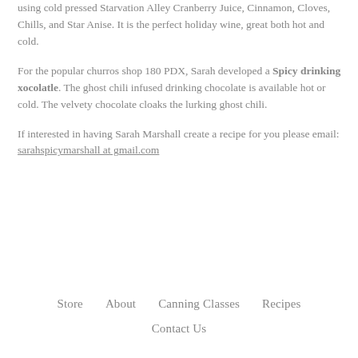using cold pressed Starvation Alley Cranberry Juice, Cinnamon, Cloves, Chills, and Star Anise. It is the perfect holiday wine, great both hot and cold.
For the popular churros shop 180 PDX, Sarah developed a Spicy drinking xocolatle. The ghost chili infused drinking chocolate is available hot or cold. The velvety chocolate cloaks the lurking ghost chili.
If interested in having Sarah Marshall create a recipe for you please email: sarahspicymarshall at gmail.com
Store   About   Canning Classes   Recipes   Contact Us